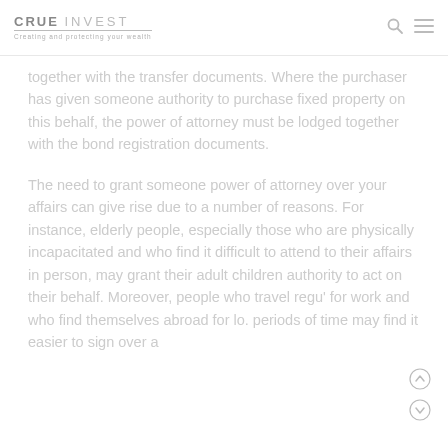CRUE INVEST – Creating and protecting your wealth
together with the transfer documents. Where the purchaser has given someone authority to purchase fixed property on this behalf, the power of attorney must be lodged together with the bond registration documents.
The need to grant someone power of attorney over your affairs can give rise due to a number of reasons. For instance, elderly people, especially those who are physically incapacitated and who find it difficult to attend to their affairs in person, may grant their adult children authority to act on their behalf. Moreover, people who travel regu' for work and who find themselves abroad for lo. periods of time may find it easier to sign over a